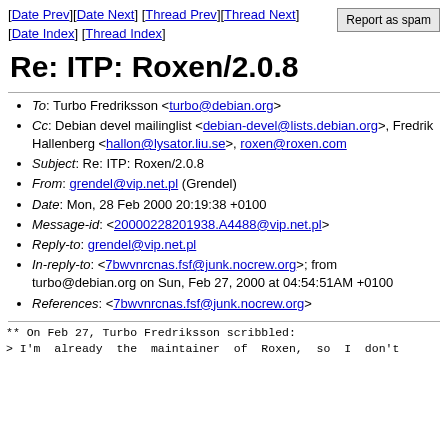[Date Prev][Date Next] [Thread Prev][Thread Next] [Date Index] [Thread Index]   Report as spam
Re: ITP: Roxen/2.0.8
To: Turbo Fredriksson <turbo@debian.org>
Cc: Debian devel mailinglist <debian-devel@lists.debian.org>, Fredrik Hallenberg <hallon@lysator.liu.se>, roxen@roxen.com
Subject: Re: ITP: Roxen/2.0.8
From: grendel@vip.net.pl (Grendel)
Date: Mon, 28 Feb 2000 20:19:38 +0100
Message-id: <20000228201938.A4488@vip.net.pl>
Reply-to: grendel@vip.net.pl
In-reply-to: <7bwvnrcnas.fsf@junk.nocrew.org>; from turbo@debian.org on Sun, Feb 27, 2000 at 04:54:51AM +0100
References: <7bwvnrcnas.fsf@junk.nocrew.org>
** On Feb 27, Turbo Fredriksson scribbled:
> I'm  already  the  maintainer  of  Roxen,  so  I  don't